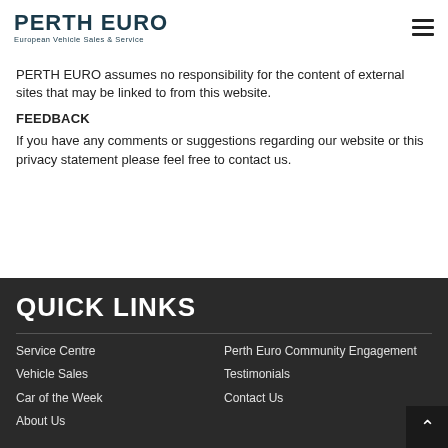[Figure (logo): Perth Euro logo with text 'PERTH EURO' in bold dark teal and subtitle 'European Vehicle Sales & Service']
PERTH EURO assumes no responsibility for the content of external sites that may be linked to from this website.
FEEDBACK
If you have any comments or suggestions regarding our website or this privacy statement please feel free to contact us.
QUICK LINKS
Service Centre
Vehicle Sales
Car of the Week
About Us
Perth Euro Community Engagement
Testimonials
Contact Us